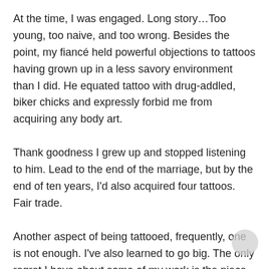At the time, I was engaged. Long story…Too young, too naive, and too wrong. Besides the point, my fiancé held powerful objections to tattoos having grown up in a less savory environment than I did. He equated tattoo with drug-addled, biker chicks and expressly forbid me from acquiring any body art.
Thank goodness I grew up and stopped listening to him. Lead to the end of the marriage, but by the end of ten years, I'd also acquired four tattoos. Fair trade.
Another aspect of being tattooed, frequently, one is not enough. I've also learned to go big. The only regret I have about some of my work is the piece isn't big enough.